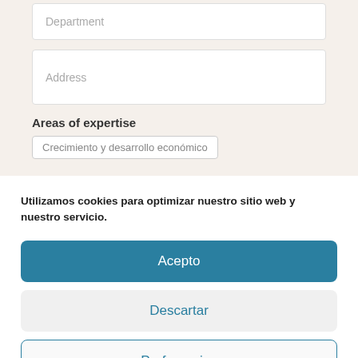Department
Address
Areas of expertise
Crecimiento y desarrollo económico
Utilizamos cookies para optimizar nuestro sitio web y nuestro servicio.
Acepto
Descartar
Preferencias
Cookies policy   Privacy Policy